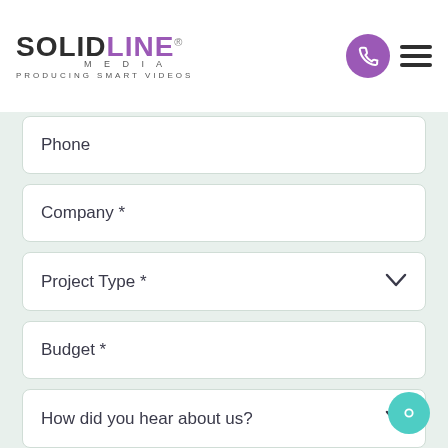[Figure (logo): SolidLine Media logo with tagline 'Producing Smart Videos']
Phone
Company *
Project Type *
Budget *
How did you hear about us?
Message